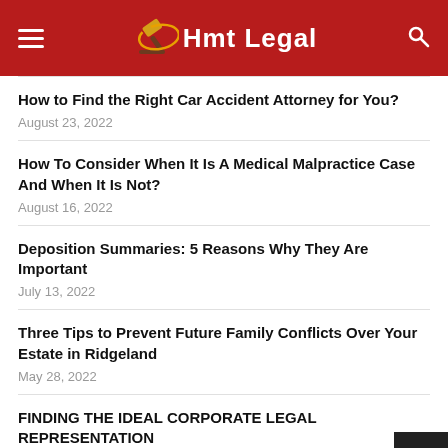Hmt Legal
How to Find the Right Car Accident Attorney for You?
August 23, 2022
How To Consider When It Is A Medical Malpractice Case And When It Is Not?
August 16, 2022
Deposition Summaries: 5 Reasons Why They Are Important
July 13, 2022
Three Tips to Prevent Future Family Conflicts Over Your Estate in Ridgeland
May 28, 2022
FINDING THE IDEAL CORPORATE LEGAL REPRESENTATION
May 9, 2022